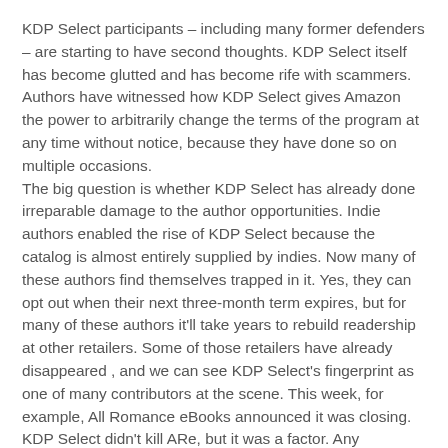KDP Select participants – including many former defenders – are starting to have second thoughts.  KDP Select itself has become glutted and has become rife with scammers.  Authors have witnessed how KDP Select gives Amazon the power to arbitrarily change the terms of the program at any time without notice, because they have done so on multiple occasions.
The big question is whether KDP Select has already done irreparable damage to the author opportunities.  Indie authors enabled the rise of KDP Select because the catalog is almost entirely supplied by indies.  Now many of these authors find themselves trapped in it.   Yes, they can opt out when their next three-month term expires, but for many of these authors it'll take years to rebuild readership at other retailers.  Some of those retailers have already disappeared , and we can see KDP Select's fingerprint as one of many contributors at the scene.  This week, for example, All Romance eBooks announced it was closing.  KDP Select didn't kill ARe, but it was a factor.  Any ecosystem or business can only suffer so much before it collapses.